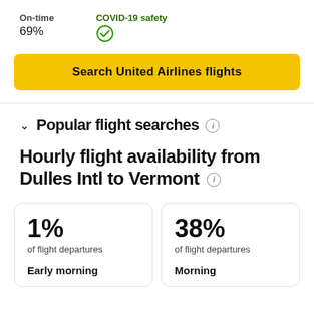On-time
69%
COVID-19 safety ✓
Search United Airlines flights
Popular flight searches ℹ
Hourly flight availability from Dulles Intl to Vermont ℹ
1%
of flight departures
Early morning
38%
of flight departures
Morning